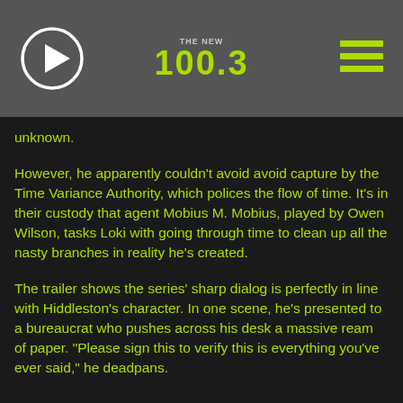THE NEW 100.3
unknown.
However, he apparently couldn't avoid avoid capture by the Time Variance Authority, which polices the flow of time. It's in their custody that agent Mobius M. Mobius, played by Owen Wilson, tasks Loki with going through time to clean up all the nasty branches in reality he's created.
The trailer shows the series' sharp dialog is perfectly in line with Hiddleston's character. In one scene, he's presented to a bureaucrat who pushes across his desk a massive ream of paper. "Please sign this to verify this is everything you've ever said," he deadpans.